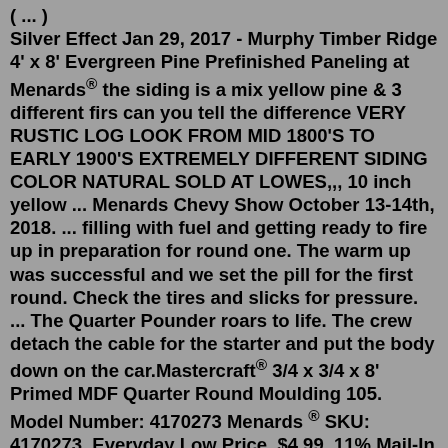( ... ) Silver Effect Jan 29, 2017 - Murphy Timber Ridge 4' x 8' Evergreen Pine Prefinished Paneling at Menards® the siding is a mix yellow pine & 3 different firs can you tell the difference VERY RUSTIC LOG LOOK FROM MID 1800'S TO EARLY 1900'S EXTREMELY DIFFERENT SIDING COLOR NATURAL SOLD AT LOWES,,, 10 inch yellow ... Menards Chevy Show October 13-14th, 2018. ... filling with fuel and getting ready to fire up in preparation for round one. The warm up was successful and we set the pill for the first round. Check the tires and slicks for pressure. ... The Quarter Pounder roars to life. The crew detach the cable for the starter and put the body down on the car.Mastercraft® 3/4 x 3/4 x 8' Primed MDF Quarter Round Moulding 105. Model Number: 4170273 Menards ® SKU: 4170273. Everyday Low Price. $4.99. 11% Mail-In Rebate Good Through 7/31/22. $0.55. You can use this prefinished hardwood quarter round as a base shoe, a bed moulding, or for any